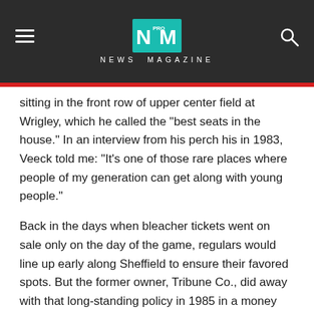NEWS MAGAZINE
sitting in the front row of upper center field at Wrigley, which he called the "best seats in the house." In an interview from his perch his in 1983, Veeck told me: "It's one of those rare places where people of my generation can get along with young people."
Back in the days when bleacher tickets went on sale only on the day of the game, regulars would line up early along Sheffield to ensure their favored spots. But the former owner, Tribune Co., did away with that long-standing policy in 1985 in a money grab that changed the bleacher vibe.
Veeck, who helped plant the ivy on the outfield walls in 1937, began his celebrated boycott of the bleachers because of that policy change.
Every generation of Bleacher Bums decries the younger generation encroaching their territory, at least since I was a 20-